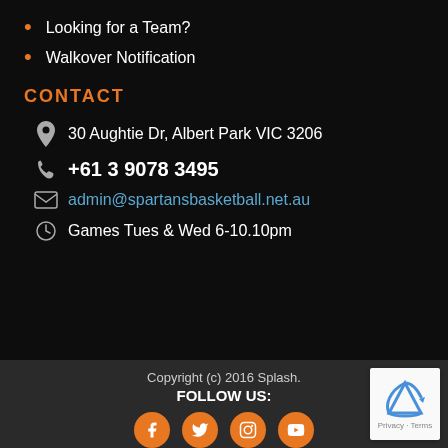Looking for a Team?
Walkover Notification
CONTACT
30 Aughtie Dr, Albert Park VIC 3206
+61 3 9078 3495
admin@spartansbasketball.net.au
Games Tues & Wed 6-10.10pm
Copyright (c) 2016 Splash. FOLLOW US: